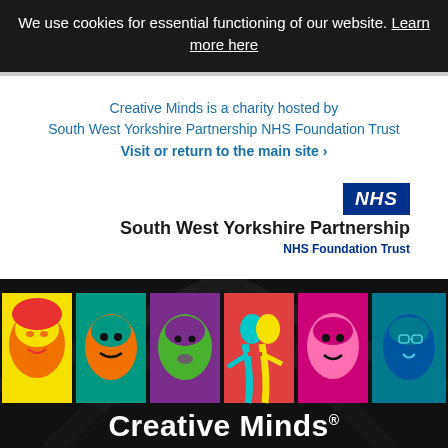We use cookies for essential functioning of our website. Learn more here
Creative Minds is a charity hosted by South West Yorkshire Partnership NHS Foundation Trust Visit or return to the main site ›
[Figure (logo): NHS logo badge with blue background and white italic 'NHS' text, followed by 'South West Yorkshire Partnership NHS Foundation Trust' organization name]
[Figure (illustration): Six pop-art style colorful portrait panels of diverse people against dark background, with 'Creative Minds®' text below]